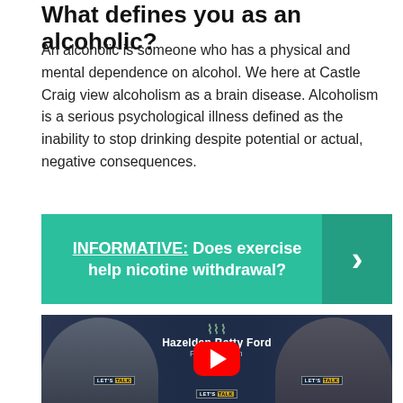What defines you as an alcoholic?
An alcoholic is someone who has a physical and mental dependence on alcohol. We here at Castle Craig view alcoholism as a brain disease. Alcoholism is a serious psychological illness defined as the inability to stop drinking despite potential or actual, negative consequences.
[Figure (infographic): Green banner with text: INFORMATIVE: Does exercise help nicotine withdrawal? with a right-pointing chevron arrow on darker green panel on the right.]
[Figure (screenshot): YouTube video thumbnail showing two men in suits seated in front of a Hazelden Betty Ford Foundation backdrop, with a red YouTube play button centered on the image. Various 'LET'S TALK' labels are visible on the backdrop.]